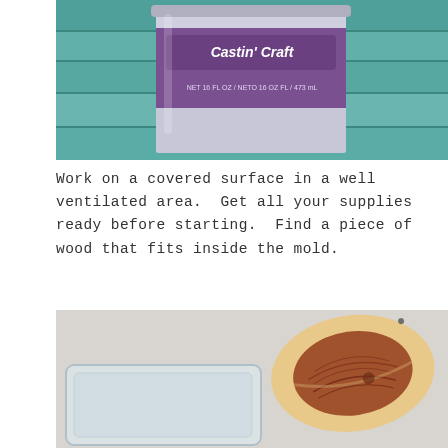[Figure (photo): Close-up photo of a Castin' Craft resin product can on a teal/turquoise wooden surface. Label reads NET 16 FL OZ / NETO 16 OZ FL / 473 mL.]
Work on a covered surface in a well ventilated area. Get all your supplies ready before starting. Find a piece of wood that fits inside the mold.
[Figure (photo): Photo of a piece of cedar wood with reddish-brown grain and lighter sapwood edges, placed next to a clear rectangular plastic mold on a light surface.]